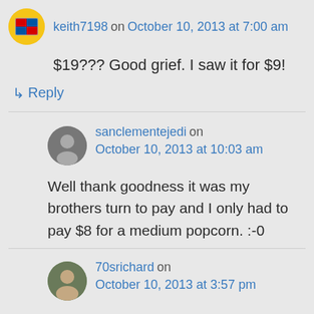keith7198 on October 10, 2013 at 7:00 am
$19??? Good grief. I saw it for $9!
↳ Reply
sanclementejedi on October 10, 2013 at 10:03 am
Well thank goodness it was my brothers turn to pay and I only had to pay $8 for a medium popcorn. :-0
70srichard on October 10, 2013 at 3:57 pm